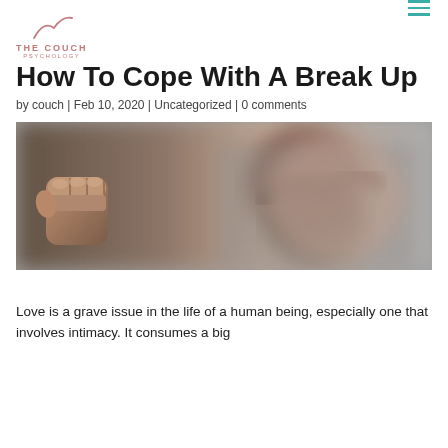THE COUCH PSYCHOLOGY
How To Cope With A Break Up
by couch | Feb 10, 2020 | Uncategorized | 0 comments
[Figure (photo): A clenched fist on the left side and a person holding their head in distress on the right side, blurred background, monochromatic tone.]
Love is a grave issue in the life of a human being, especially one that involves intimacy. It consumes a big